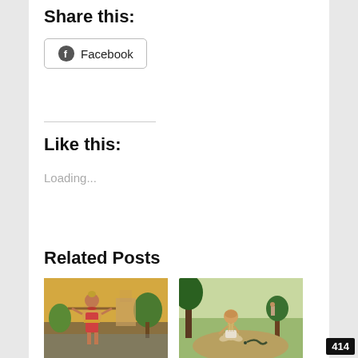Share this:
[Figure (screenshot): Facebook share button with Facebook icon]
Like this:
Loading...
Related Posts
[Figure (illustration): Indian classical painting of a woman carrying a wooden yoke near a river with trees and architecture]
[Figure (illustration): Painting of a thin ascetic figure seated on a path in a forest landscape]
414